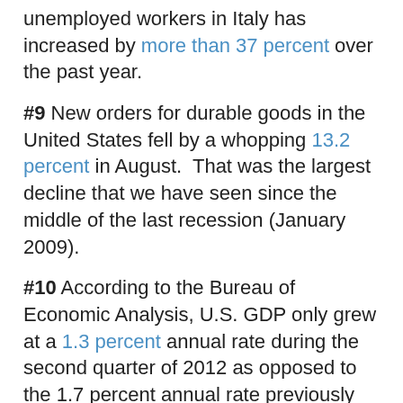unemployed workers in Italy has increased by more than 37 percent over the past year.
#9 New orders for durable goods in the United States fell by a whopping 13.2 percent in August. That was the largest decline that we have seen since the middle of the last recession (January 2009).
#10 According to the Bureau of Economic Analysis, U.S. GDP only grew at a 1.3 percent annual rate during the second quarter of 2012 as opposed to the 1.7 percent annual rate previously reported.
#11 The U.S. Postal Service is about to experience its second financial default in just the past two months....